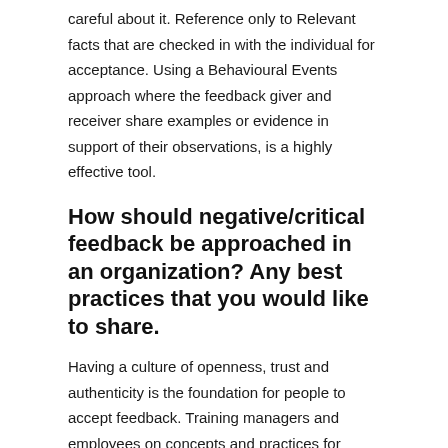careful about it. Reference only to Relevant facts that are checked in with the individual for acceptance. Using a Behavioural Events approach where the feedback giver and receiver share examples or evidence in support of their observations, is a highly effective tool.
How should negative/critical feedback be approached in an organization? Any best practices that you would like to share.
Having a culture of openness, trust and authenticity is the foundation for people to accept feedback. Training managers and employees on concepts and practices for effective feedback like Structured Behavioural Interviews or Non-Violence Communication and Appreciative Inquiry would be helpful. A coaching style of management where the focus is on empowering the receiver to take ownership and move forward in an empowered manner is a practice I highly recommend.
Seniors need to lead by example and effective feedback-giving behaviours by surveys and made part of the expected standards of